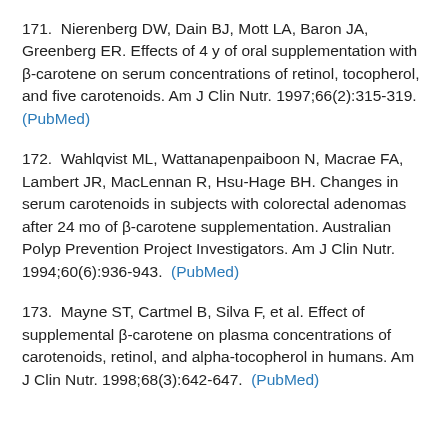171.  Nierenberg DW, Dain BJ, Mott LA, Baron JA, Greenberg ER. Effects of 4 y of oral supplementation with β-carotene on serum concentrations of retinol, tocopherol, and five carotenoids. Am J Clin Nutr. 1997;66(2):315-319.  (PubMed)
172.  Wahlqvist ML, Wattanapenpaiboon N, Macrae FA, Lambert JR, MacLennan R, Hsu-Hage BH. Changes in serum carotenoids in subjects with colorectal adenomas after 24 mo of β-carotene supplementation. Australian Polyp Prevention Project Investigators. Am J Clin Nutr. 1994;60(6):936-943.  (PubMed)
173.  Mayne ST, Cartmel B, Silva F, et al. Effect of supplemental β-carotene on plasma concentrations of carotenoids, retinol, and alpha-tocopherol in humans. Am J Clin Nutr. 1998;68(3):642-647.  (PubMed)